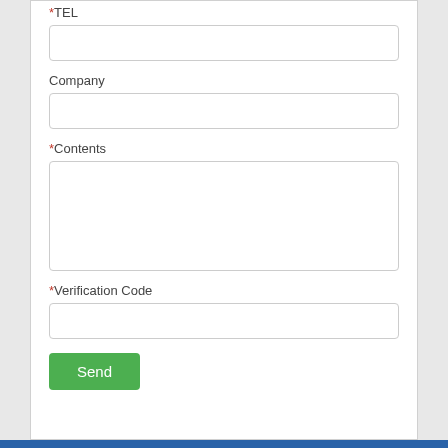*TEL
[Figure (other): Empty text input field for TEL]
Company
[Figure (other): Empty text input field for Company]
*Contents
[Figure (other): Empty textarea input field for Contents]
*Verification Code
[Figure (other): Empty text input field for Verification Code]
Send